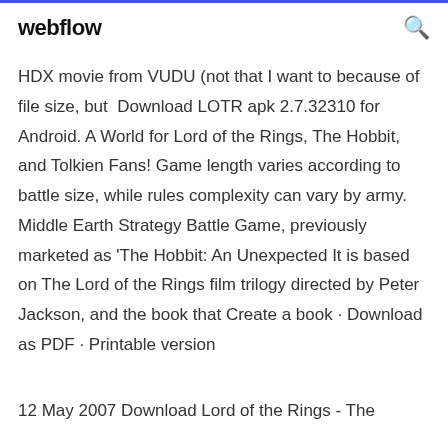webflow
HDX movie from VUDU (not that I want to because of file size, but  Download LOTR apk 2.7.32310 for Android. A World for Lord of the Rings, The Hobbit, and Tolkien Fans! Game length varies according to battle size, while rules complexity can vary by army. Middle Earth Strategy Battle Game, previously marketed as 'The Hobbit: An Unexpected It is based on The Lord of the Rings film trilogy directed by Peter Jackson, and the book that Create a book · Download as PDF · Printable version
12 May 2007 Download Lord of the Rings - The